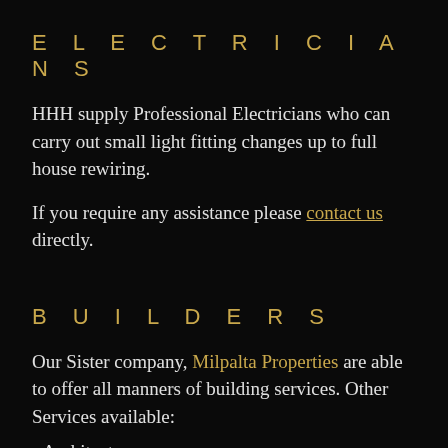ELECTRICIANS
HHH supply Professional Electricians who can carry out small light fitting changes up to full house rewiring.
If you require any assistance please contact us directly.
BUILDERS
Our Sister company, Milpalta Properties are able to offer all manners of building services. Other Services available:
• Architects
• Structural Engineers
• Planning Consultants